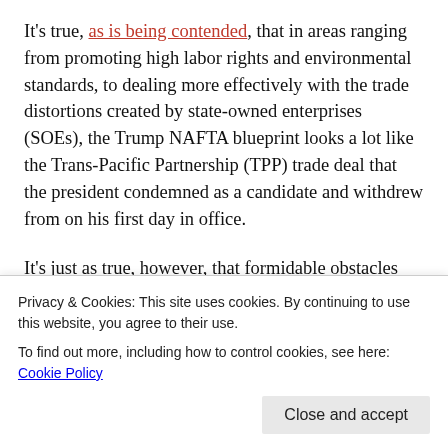It's true, as is being contended, that in areas ranging from promoting high labor rights and environmental standards, to dealing more effectively with the trade distortions created by state-owned enterprises (SOEs), the Trump NAFTA blueprint looks a lot like the Trans-Pacific Partnership (TPP) trade deal that the president condemned as a candidate and withdrew from on his first day in office.
It's just as true, however, that formidable obstacles were bound to prevent effective enforcement of those proposed TPP rules. These
Privacy & Cookies: This site uses cookies. By continuing to use this website, you agree to their use.
To find out more, including how to control cookies, see here: Cookie Policy
Close and accept
to an ongoing basis. But the final TPP text